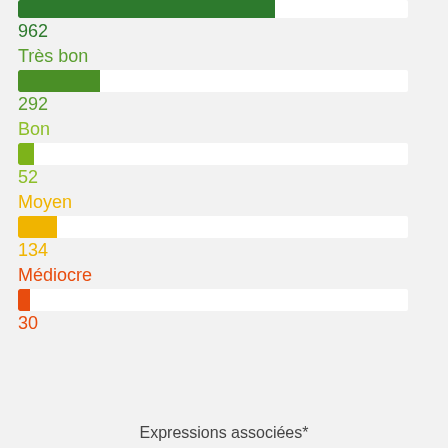[Figure (bar-chart): Ratings breakdown]
Expressions associées*